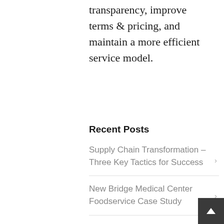transparency, improve terms & pricing, and maintain a more efficient service model.
Recent Posts
Supply Chain Transformation – Three Key Tactics for Success
New Bridge Medical Center Foodservice Case Study
Supply Chain's Cultural Evolution: Changing the Narrative